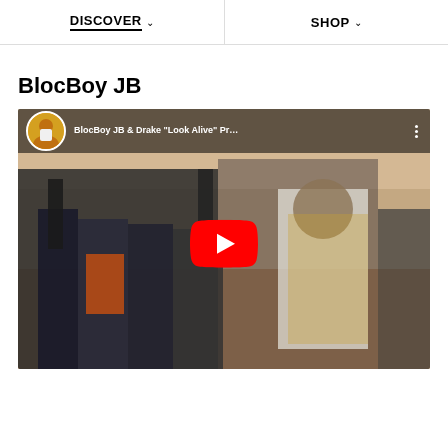DISCOVER   SHOP
BlocBoy JB
[Figure (screenshot): YouTube video embed showing BlocBoy JB & Drake 'Look Alive' music video with red YouTube play button overlay and video thumbnail of people in a gymnasium]